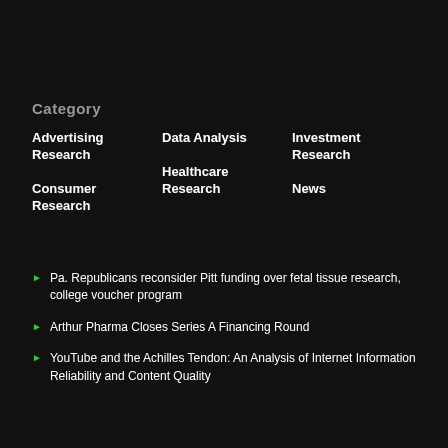Category
Advertising Research
Data Analysis
Investment Research
Consumer Research
Healthcare Research
News
Pa. Republicans reconsider Pitt funding over fetal tissue research, college voucher program
Arthur Pharma Closes Series A Financing Round
YouTube and the Achilles Tendon: An Analysis of Internet Information Reliability and Content Quality